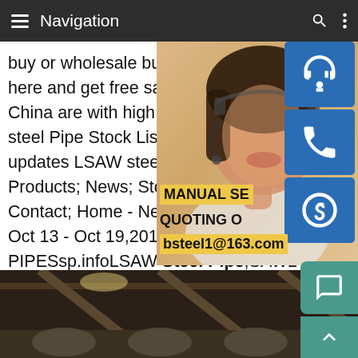Navigation
buy or wholesale bulk api5l psl1 lsaw carb here and get free sample from our factory. China are with high quality and competitive steel Pipe Stock List for Oct 13 - Oct 19,20 updates LSAW steel pipe stock list on Oct Products; News; Stock Price; Projects Clie Contact; Home - News - Price News.LSAW Oct 13 - Oct 19,2017.STOCKS FOR LSAW PIPESsp.infoLSAW Steel Pipe,SAWL Steel Pipe LSAW pipe ...Among those professional LSAW manufacturers and suppliers in China, we are here waiting for you to buy our high quality and good price LSAW steel pipe, SAWL steel pipe, EFW steel pipe,SAWL steel pipe in stock. Tel: +8 18931758335 Email: om . Home;...Detailed
[Figure (photo): Woman with headset customer service representative, overlaid with contact icons (headset, phone, Skype) in blue square buttons, and text overlays: MANUAL SE, QUOTING O, bsteel1@163.com]
[Figure (photo): Factory interior showing industrial steel pipe facility]